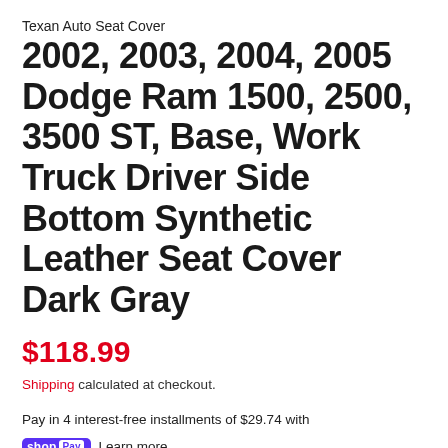Texan Auto Seat Cover
2002, 2003, 2004, 2005 Dodge Ram 1500, 2500, 3500 ST, Base, Work Truck Driver Side Bottom Synthetic Leather Seat Cover Dark Gray
$118.99
Shipping calculated at checkout.
Pay in 4 interest-free installments of $29.74 with
shop Pay  Learn more